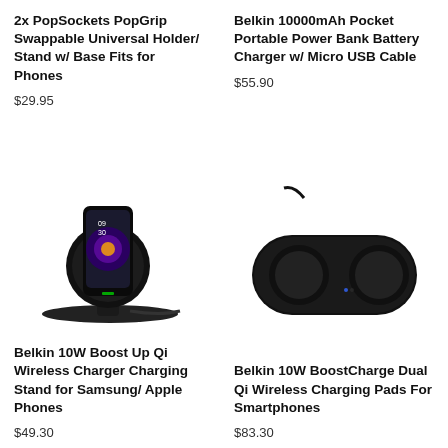2x PopSockets PopGrip Swappable Universal Holder/ Stand w/ Base Fits for Phones
$29.95
Belkin 10000mAh Pocket Portable Power Bank Battery Charger w/ Micro USB Cable
$55.90
[Figure (photo): Belkin 10W Boost Up Qi Wireless Charger Charging Stand with a Samsung Galaxy S9 phone placed on it, black color, cable visible]
Belkin 10W Boost Up Qi Wireless Charger Charging Stand for Samsung/ Apple Phones
$49.30
[Figure (photo): Belkin 10W BoostCharge Dual Qi Wireless Charging Pad for smartphones, black oval shaped pad with two circular charging zones, cable attached]
Belkin 10W BoostCharge Dual Qi Wireless Charging Pads For Smartphones
$83.30